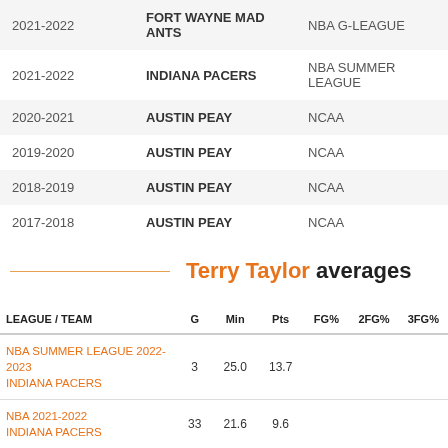| Season | Team | League |
| --- | --- | --- |
| 2021-2022 | FORT WAYNE MAD ANTS | NBA G-LEAGUE |
| 2021-2022 | INDIANA PACERS | NBA SUMMER LEAGUE |
| 2020-2021 | AUSTIN PEAY | NCAA |
| 2019-2020 | AUSTIN PEAY | NCAA |
| 2018-2019 | AUSTIN PEAY | NCAA |
| 2017-2018 | AUSTIN PEAY | NCAA |
Terry Taylor averages
| LEAGUE / TEAM | G | Min | Pts | FG% | 2FG% | 3FG% |
| --- | --- | --- | --- | --- | --- | --- |
| NBA SUMMER LEAGUE 2022-2023 INDIANA PACERS | 3 | 25.0 | 13.7 |  |  |  |
| NBA 2021-2022 INDIANA PACERS | 33 | 21.6 | 9.6 |  |  |  |
| NBA G-LEAGUE 2021-2022 FORT WAYNE MAD ANTS | 4 | 39.0 | 29.8 |  |  |  |
| NBA SUMMER LEAGUE 2021-2022 INDIANA PACERS | 3 | 16.7 | 7.3 |  |  |  |